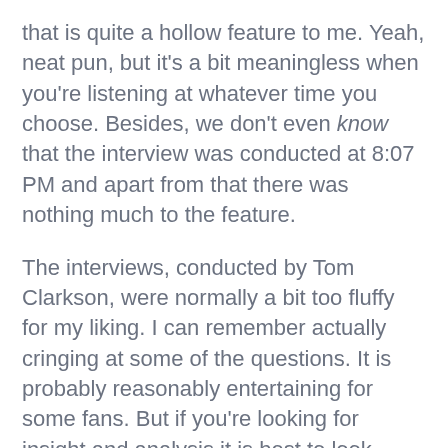that is quite a hollow feature to me. Yeah, neat pun, but it's a bit meaningless when you're listening at whatever time you choose. Besides, we don't even know that the interview was conducted at 8:07 PM and apart from that there was nothing much to the feature.
The interviews, conducted by Tom Clarkson, were normally a bit too fluffy for my liking. I can remember actually cringing at some of the questions. It is probably reasonably entertaining for some fans. But if you're looking for insight and analysis it is best to look elsewhere.
Worst of all, some kind of glitch towards the end of the season meant that the podcasts weren't getting delivered (at least to me — and I remember Sidepodcast mentioning a similar problem). The podcasts for Japan,